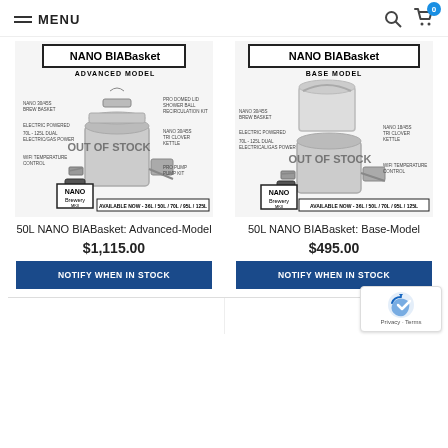MENU
[Figure (photo): Product image of NANO BIABasket Advanced Model with labeled components, OUT OF STOCK watermark, and AVAILABLE NOW sizes 36L/50L/70L/95L/125L]
50L NANO BIABasket: Advanced-Model
$1,115.00
NOTIFY WHEN IN STOCK
[Figure (photo): Product image of NANO BIABasket Base Model with labeled components, OUT OF STOCK watermark, and AVAILABLE NOW sizes 36L/50L/70L/95L/125L]
50L NANO BIABasket: Base-Model
$495.00
NOTIFY WHEN IN STOCK